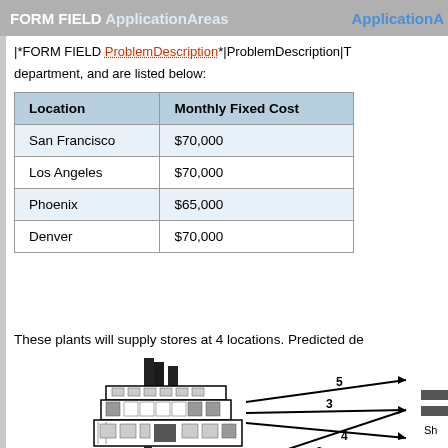FORM FIELD ApplicationAreas   ApplicationA
|*FORM FIELD ProblemDescription*|ProblemDescription|T department, and are listed below:
| Location | Monthly Fixed Cost |
| --- | --- |
| San Francisco | $70,000 |
| Los Angeles | $70,000 |
| Phoenix | $65,000 |
| Denver | $70,000 |
These plants will supply stores at 4 locations. Predicted de
[Figure (infographic): Diagram showing factories labeled San Francisco 1700 and another factory below, connected by arrows with numbers 2, 3, 4, 5, 6, 9 to distribution nodes on the right side of the diagram.]